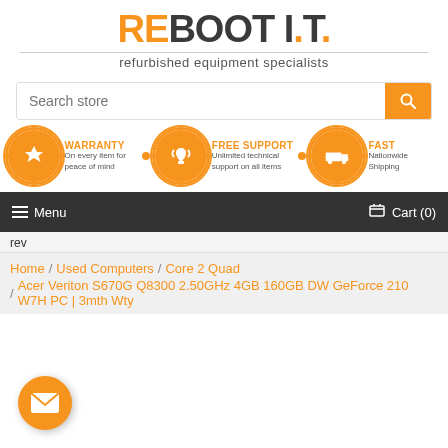[Figure (logo): REBOOT I.T. logo with orange RE letters and dark BOOT I.T. text, tagline: refurbished equipment specialists]
Search store
[Figure (infographic): Three feature icons in orange circles: WARRANTY - On every item for peace of mind, FREE SUPPORT - Unlimited technical support on all items, FAST - Nationwide Shipping]
Menu   Cart (0)
rev
Home / Used Computers / Core 2 Quad / Acer Veriton S670G Q8300 2.50GHz 4GB 160GB DW GeForce 210 W7H PC | 3mth Wty